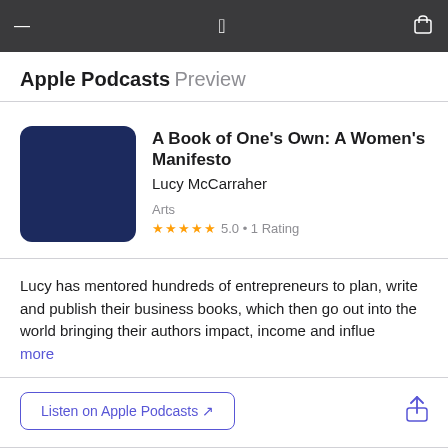Apple Podcasts Preview
[Figure (screenshot): Dark navy blue square podcast artwork with rounded corners for 'A Book of One's Own: A Women's Manifesto']
A Book of One's Own: A Women's Manifesto
Lucy McCarraher
Arts
★★★★★ 5.0 • 1 Rating
Lucy has mentored hundreds of entrepreneurs to plan, write and publish their business books, which then go out into the world bringing their authors impact, income and influence. more
Listen on Apple Podcasts ↗